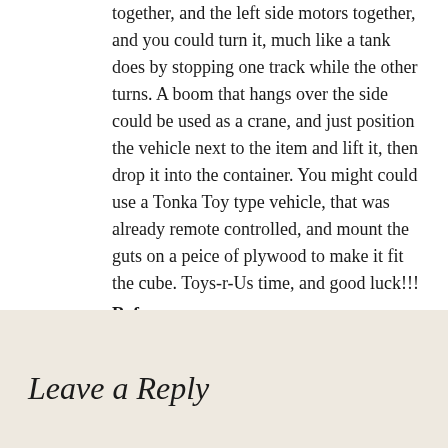together, and the left side motors together, and you could turn it, much like a tank does by stopping one track while the other turns. A boom that hangs over the side could be used as a crane, and just position the vehicle next to the item and lift it, then drop it into the container. You might could use a Tonka Toy type vehicle, that was already remote controlled, and mount the guts on a peice of plywood to make it fit the cube. Toys-r-Us time, and good luck!!!
References :
Leave a Reply